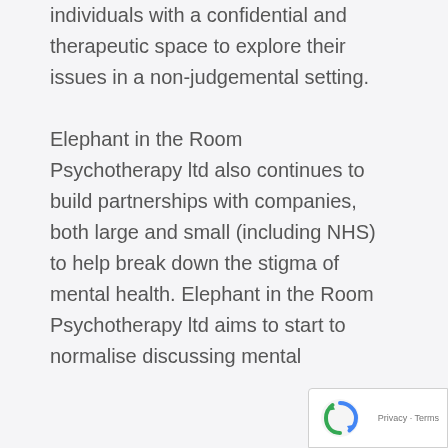individuals with a confidential and therapeutic space to explore their issues in a non-judgemental setting.

Elephant in the Room Psychotherapy ltd also continues to build partnerships with companies, both large and small (including NHS) to help break down the stigma of mental health. Elephant in the Room Psychotherapy ltd aims to start to normalise discussing mental